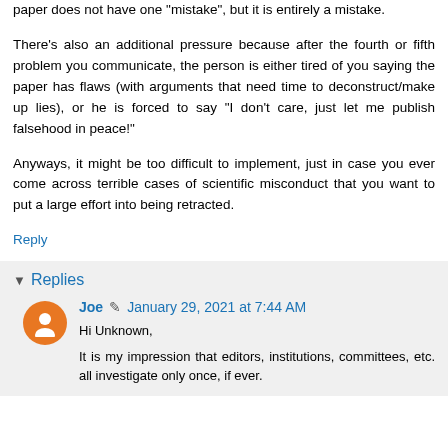paper does not have one "mistake", but it is entirely a mistake.
There's also an additional pressure because after the fourth or fifth problem you communicate, the person is either tired of you saying the paper has flaws (with arguments that need time to deconstruct/make up lies), or he is forced to say "I don't care, just let me publish falsehood in peace!"
Anyways, it might be too difficult to implement, just in case you ever come across terrible cases of scientific misconduct that you want to put a large effort into being retracted.
Reply
Replies
Joe  January 29, 2021 at 7:44 AM
Hi Unknown,
It is my impression that editors, institutions, committees, etc. all investigate only once, if ever.